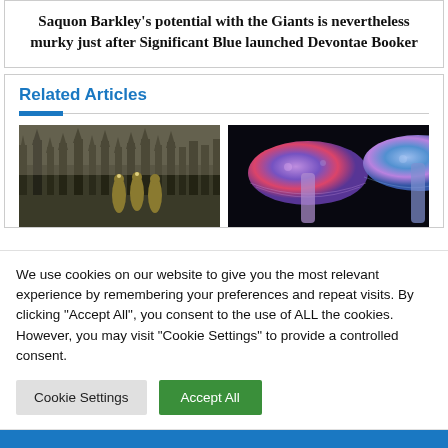Saquon Barkley's potential with the Giants is nevertheless murky just after Significant Blue launched Devontae Booker
Related Articles
[Figure (photo): Firefighters in yellow gear standing in a smoky forested area]
[Figure (photo): Colorful illuminated mushrooms on a dark background]
We use cookies on our website to give you the most relevant experience by remembering your preferences and repeat visits. By clicking "Accept All", you consent to the use of ALL the cookies. However, you may visit "Cookie Settings" to provide a controlled consent.